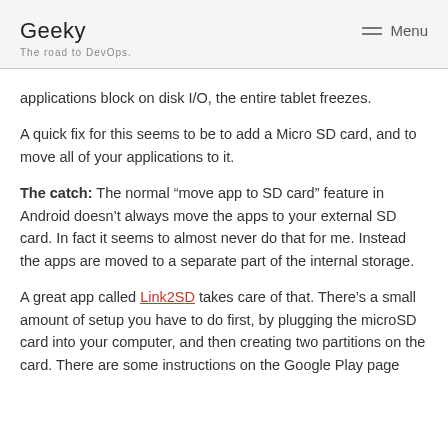Geeky
The road to DevOps.
Menu
applications block on disk I/O, the entire tablet freezes.
A quick fix for this seems to be to add a Micro SD card, and to move all of your applications to it.
The catch: The normal “move app to SD card” feature in Android doesn’t always move the apps to your external SD card. In fact it seems to almost never do that for me. Instead the apps are moved to a separate part of the internal storage.
A great app called Link2SD takes care of that. There’s a small amount of setup you have to do first, by plugging the microSD card into your computer, and then creating two partitions on the card. There are some instructions on the Google Play page